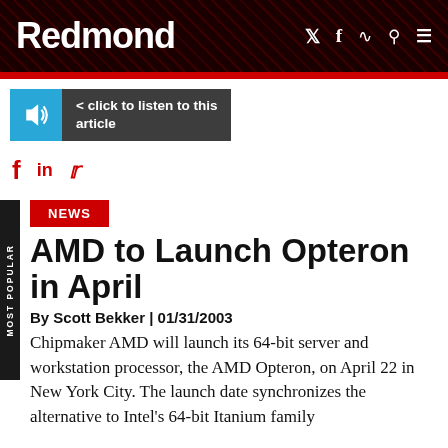Redmond
[Figure (screenshot): Audio player bar with speaker icon and text '< click to listen to this article']
[Figure (infographic): Social media icons: f, in, Twitter bird]
NEWS
AMD to Launch Opteron in April
By Scott Bekker | 01/31/2003
Chipmaker AMD will launch its 64-bit server and workstation processor, the AMD Opteron, on April 22 in New York City. The launch date synchronizes the alternative to Intel's 64-bit Itanium family